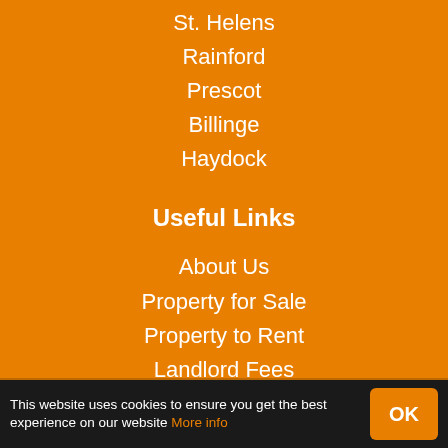St. Helens
Rainford
Prescot
Billinge
Haydock
Useful Links
About Us
Property for Sale
Property to Rent
Landlord Fees
Property Valuation
Little Estates Agents is a trading style of Little Estates Agents. Little Estates Agents, 60
This website uses cookies to ensure you get the best experience on our website More info